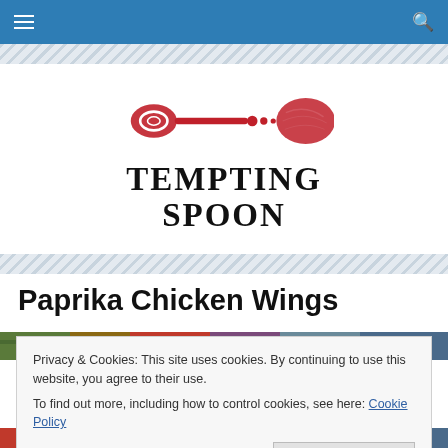Navigation bar with hamburger menu and search icon
[Figure (logo): Tempting Spoon logo with a red illustrated spoon and the text TEMPTING SPOON in serif font]
Paprika Chicken Wings
[Figure (photo): Food photography image strip showing colorful ingredients]
Privacy & Cookies: This site uses cookies. By continuing to use this website, you agree to their use.
To find out more, including how to control cookies, see here: Cookie Policy
Close and accept
[Figure (photo): Food photography image strip at bottom showing vegetables and produce]